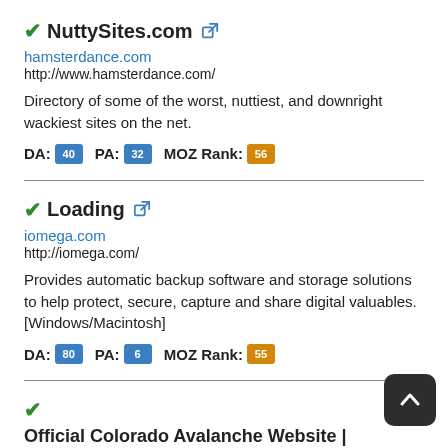NuttySites.com — hamsterdance.com — http://www.hamsterdance.com/ — Directory of some of the worst, nuttiest, and downright wackiest sites on the net. — DA: 40 PA: 32 MOZ Rank: 56
Loading — iomega.com — http://iomega.com/ — Provides automatic backup software and storage solutions to help protect, secure, capture and share digital valuables. [Windows/Macintosh] — DA: 80 PA: 6 MOZ Rank: 55
Official Colorado Avalanche Website | NHL.com — nhl.com — http://avalanche.nhl.com/